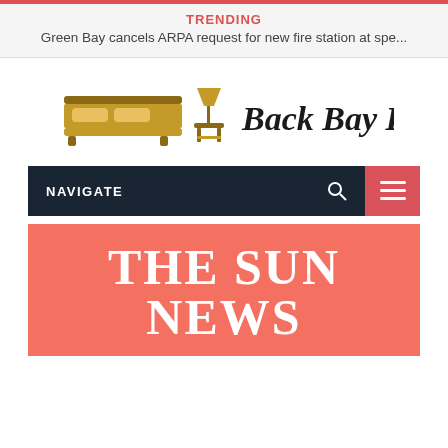TRENDING
Green Bay cancels ARPA request for new fire station at spe...
[Figure (logo): Back Bay BnB logo with bed and lamp icon in gold/dark gold colors, and text 'Back Bay BnB' in serif font]
NAVIGATE
THE SUN NEWS